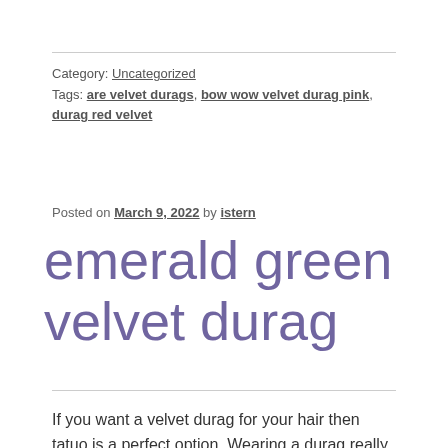Category: Uncategorized
Tags: are velvet durags, bow wow velvet durag pink, durag red velvet
Posted on March 9, 2022 by istern
emerald green velvet durag
If you want a velvet durag for your hair then tatuo is a perfect option. Wearing a durag really protects your curls from hair damage, especially when you are planning your night time routine. These wave caps are designed in free